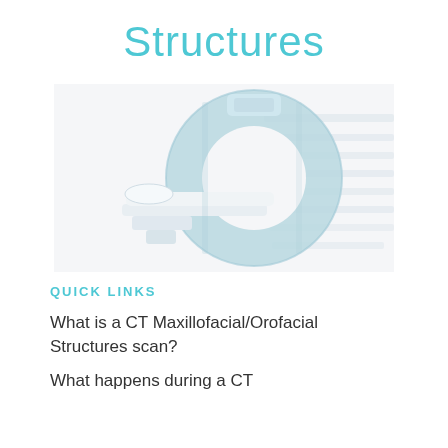Structures
[Figure (photo): CT scanner machine — a large white and light blue donut-shaped MRI/CT imaging device with a patient table extending from the front, shown on a white/light grey background with motion blur lines on the right side.]
QUICK LINKS
What is a CT Maxillofacial/Orofacial Structures scan?
What happens during a CT